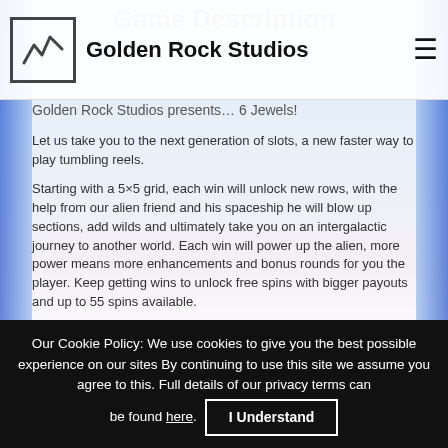Game Description
Golden Rock Studios
Golden Rock Studios presents… 6 Jewels!
Let us take you to the next generation of slots, a new faster way to play tumbling reels.
Starting with a 5×5 grid, each win will unlock new rows, with the help from our alien friend and his spaceship he will blow up sections, add wilds and ultimately take you on an intergalactic journey to another world. Each win will power up the alien, more power means more enhancements and bonus rounds for you the player. Keep getting wins to unlock free spins with bigger payouts and up to 55 spins available.
Lines wise there are none! Pays EVERY WAY, left to right, right to left, up to down and down to up. Simple to follow, understood by the many and packed with features, 6 Jewels is
Our Cookie Policy: We use cookies to give you the best possible experience on our sites By continuing to use this site we assume you agree to this. Full details of our privacy terms can be found here. I Understand